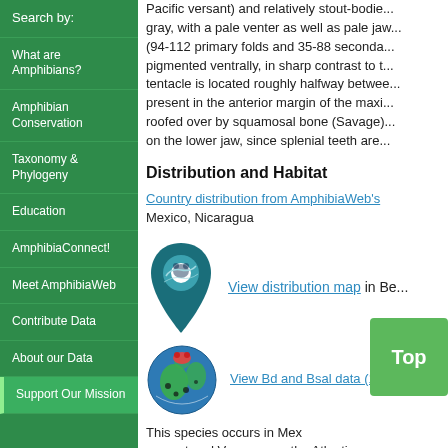Search by:
What are Amphibians?
Amphibian Conservation
Taxonomy & Phylogeny
Education
AmphibiaConnect!
Meet AmphibiaWeb
Contribute Data
About our Data
Support Our Mission
Pacific versant) and relatively stout-bodie... gray, with a pale venter as well as pale jaw... (94-112 primary folds and 35-88 seconda... pigmented ventrally, in sharp contrast to t... tentacle is located roughly halfway betwee... present in the anterior margin of the maxi... roofed over by squamosal bone (Savage)... on the lower jaw, since splenial teeth are...
Distribution and Habitat
Country distribution from AmphibiaWeb's Mexico, Nicaragua
[Figure (illustration): AmphibiaWeb distribution map pin icon — stylized frog silhouette in a teardrop map marker shape, teal/dark blue color scheme]
View distribution map in Be...
[Figure (logo): amphibiandisease.org globe logo with frog and spotted pattern]
View Bd and Bsal data (1 re...
This species occurs in Mexico on the lo... versant and Veracruz on the Atlantic versa... fossorial but is also found on the surface i...